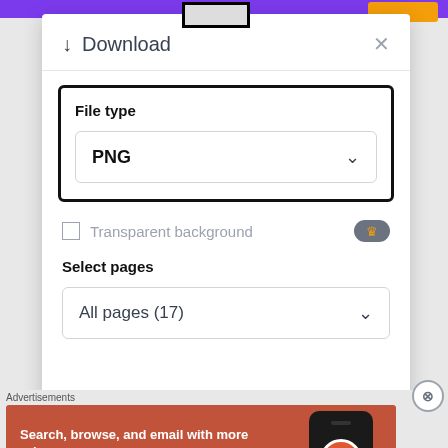[Figure (screenshot): Download dialog from a web application (likely Canva) showing file type selection set to PNG with a thick black highlight border, transparent background option with crown badge, select pages dropdown showing All pages (17), and a teal download button at bottom. Below the dialog is a DuckDuckGo advertisement banner.]